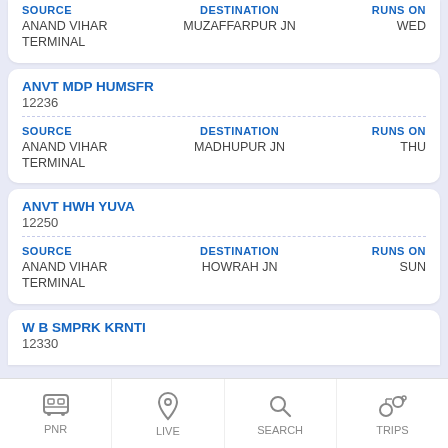SOURCE: ANAND VIHAR TERMINAL | DESTINATION: MUZAFFARPUR JN | RUNS ON: WED
ANVT MDP HUMSFR
12236
SOURCE: ANAND VIHAR TERMINAL | DESTINATION: MADHUPUR JN | RUNS ON: THU
ANVT HWH YUVA
12250
SOURCE: ANAND VIHAR TERMINAL | DESTINATION: HOWRAH JN | RUNS ON: SUN
W B SMPRK KRNTI
12330
SOURCE | DESTINATION | RUNS ON | ANAND VIHAR TERMINAL
PNR | LIVE | SEARCH | TRIPS